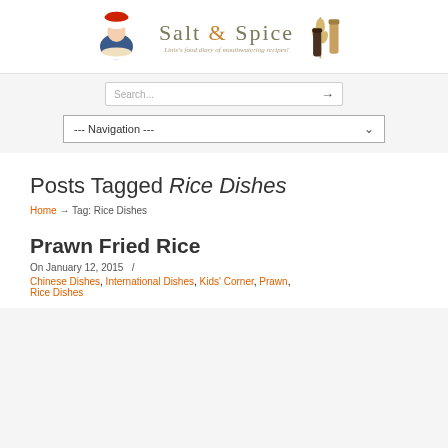[Figure (logo): Salt & Spice blog header with chef illustration on left, site title and tagline in center, spice bottles illustration on right]
[Figure (screenshot): Search input box with placeholder text 'Search...' and arrow button]
[Figure (screenshot): Navigation dropdown menu with '--- Navigation ---' text and chevron]
Posts Tagged Rice Dishes
Home → Tag: Rice Dishes
Prawn Fried Rice
On January 12, 2015  /
Chinese Dishes, International Dishes, Kids' Corner, Prawn, Rice Dishes